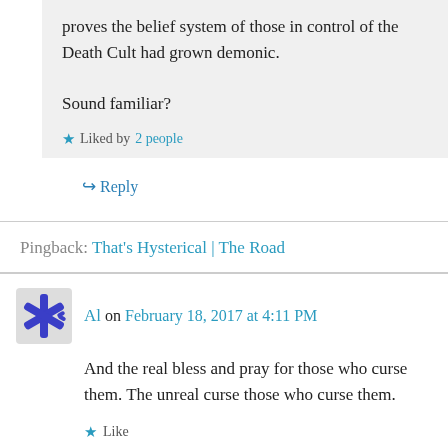proves the belief system of those in control of the Death Cult had grown demonic.

Sound familiar?
Liked by 2 people
Reply
Pingback: That's Hysterical | The Road
Al on February 18, 2017 at 4:11 PM
And the real bless and pray for those who curse them. The unreal curse those who curse them.
Like
Reply